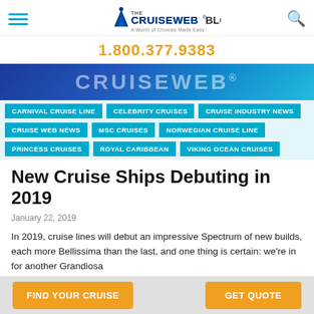The CruiseWeb Blog — A World of Choices Made Easy
1.800.377.9383
[Figure (logo): CruiseWeb banner logo background]
CARNIVAL CRUISE LINE
CELEBRITY CRUISES
CRUISE INDUSTRY NEWS
CRUISE WEB NEWS
MSC CRUISES
NORWEGIAN CRUISE LINE
PRINCESS CRUISES
ROYAL CARIBBEAN
VIKING OCEAN CRUISES
New Cruise Ships Debuting in 2019
January 22, 2019
In 2019, cruise lines will debut an impressive Spectrum of new builds, each more Bellissima than the last, and one thing is certain: we're in for another Grandiosa
FIND YOUR CRUISE   GET QUOTE